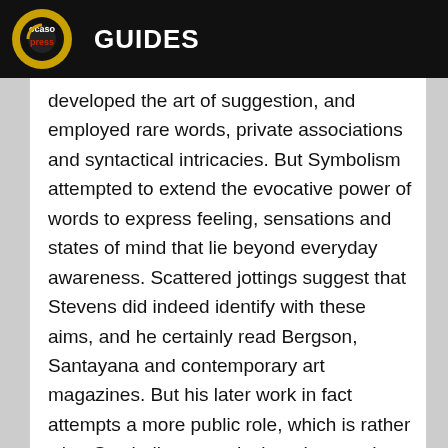ocaso press GUIDES
developed the art of suggestion, and employed rare words, private associations and syntactical intricacies. But Symbolism attempted to extend the evocative power of words to express feeling, sensations and states of mind that lie beyond everyday awareness. Scattered jottings suggest that Stevens did indeed identify with these aims, and he certainly read Bergson, Santayana and contemporary art magazines. But his later work in fact attempts a more public role, which is rather what Symbolism was designed not to do.